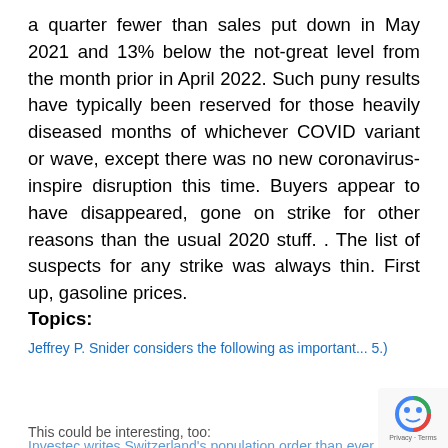a quarter fewer than sales put down in May 2021 and 13% below the not-great level from the month prior in April 2022. Such puny results have typically been reserved for those heavily diseased months of whichever COVID variant or wave, except there was no new coronavirus-inspire disruption this time. Buyers appear to have disappeared, gone on strike for other reasons than the usual 2020 stuff. . The list of suspects for any strike was always thin. First up, gasoline prices.
Topics:
[Figure (screenshot): Cookie consent overlay banner with black background. Text reads 'This website uses cookies to ensure you get the best experience on our website.' with links to Cookie Policy and Privacy Policy, and a yellow 'Got it!' button.]